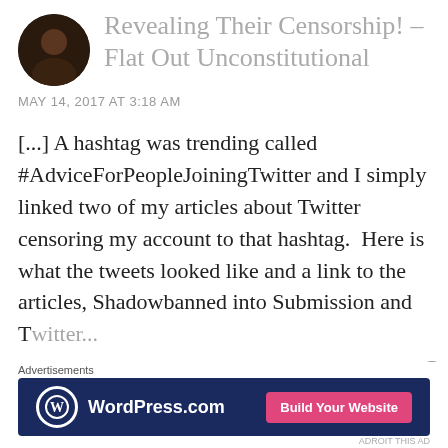[Figure (photo): Circular avatar photo showing a person, dark toned image]
Revealing Their Censorship! – Flat Out Unconstitutional
MAY 14, 2017 AT 3:18 AM
[...] A hashtag was trending called #AdviceForPeopleJoiningTwitter and I simply linked two of my articles about Twitter censoring my account to that hashtag.  Here is what the tweets looked like and a link to the articles, Shadowbanned into Submission and Twitter...
Advertisements
[Figure (screenshot): WordPress.com advertisement banner with dark blue background, WordPress logo on left, and pink 'Build Your Website' button on right]